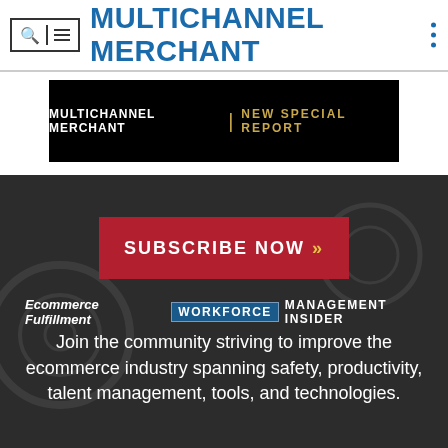MULTICHANNEL MERCHANT
[Figure (screenshot): Black banner with text: MULTICHANNEL MERCHANT | NEW SPECIAL REPORT in white and gold uppercase letters]
[Figure (screenshot): Red button with white uppercase text: SUBSCRIBE NOW >>]
Ecommerce Fulfillment WORKFORCE MANAGEMENT INSIDER
Join the community striving to improve the ecommerce industry spanning safety, productivity, talent management, tools, and technologies.